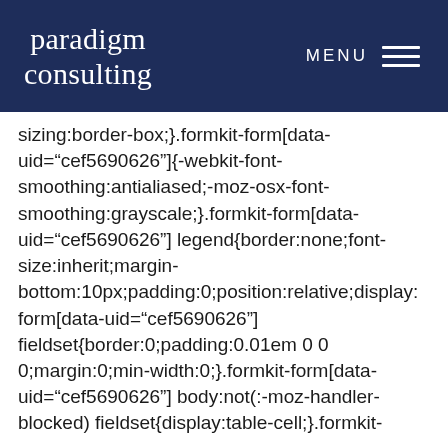paradigm consulting | MENU
sizing:border-box;}.formkit-form[data-uid="cef5690626"]{-webkit-font-smoothing:antialiased;-moz-osx-font-smoothing:grayscale;}.formkit-form[data-uid="cef5690626"] legend{border:none;font-size:inherit;margin-bottom:10px;padding:0;position:relative;display: form[data-uid="cef5690626"] fieldset{border:0;padding:0.01em 0 0 0;margin:0;min-width:0;}.formkit-form[data-uid="cef5690626"] body:not(:-moz-handler-blocked) fieldset{display:table-cell;}.formkit-